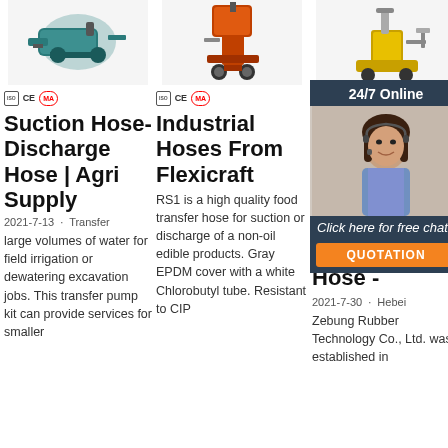[Figure (photo): Industrial machine/pump in teal/green color]
[Figure (photo): Orange industrial mortar/plastering machine]
[Figure (photo): Yellow industrial drilling/construction machine]
CE  MA  [certification badges]
CE  MA  [certification badges]
[certification badges]
Suction Hose-Discharge Hose | Agri Supply
Industrial Hoses From Flexicraft
Flexible Rubber Hose, Rubber Hose, Industrial Hose -
2021-7-13 · Transfer large volumes of water for field irrigation or dewatering excavation jobs. This transfer pump kit can provide services for smaller
RS1 is a high quality food transfer hose for suction or discharge of a non-oil edible products. Gray EPDM cover with a white Chlorobutyl tube. Resistant to CIP
[Figure (photo): 24/7 Online chat support - woman with headset smiling]
2021-7-30 · Hebei Zebung Rubber Technology Co., Ltd. was established in